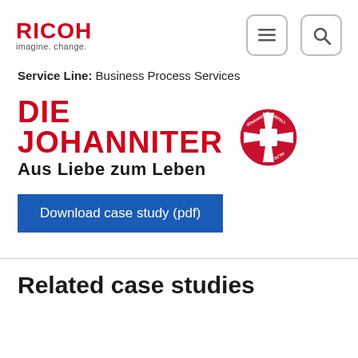[Figure (logo): RICOH logo with tagline 'imagine. change.' in top left]
[Figure (other): Hamburger menu icon button with rounded rectangle border]
[Figure (other): Search (magnifying glass) icon button with rounded rectangle border]
Service Line: Business Process Services
[Figure (logo): Die Johanniter logo with red cross emblem and tagline 'Aus Liebe zum Leben']
Download case study (pdf)
Related case studies